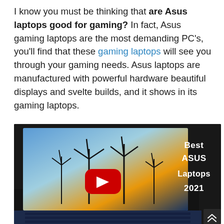I know you must be thinking that are Asus laptops good for gaming? In fact, Asus gaming laptops are the most demanding PC's, you'll find that these gaming laptops will see you through your gaming needs. Asus laptops are manufactured with powerful hardware beautiful displays and svelte builds, and it shows in its gaming laptops.
[Figure (photo): A YouTube video thumbnail showing a laptop with wind turbines on the screen, a red YouTube play button, and bold white text reading 'Best ASUS Laptops 2021' on the right side against a dark background.]